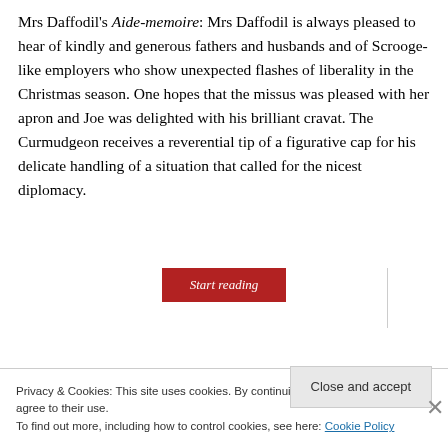Mrs Daffodil's Aide-memoire: Mrs Daffodil is always pleased to hear of kindly and generous fathers and husbands and of Scrooge-like employers who show unexpected flashes of liberality in the Christmas season. One hopes that the missus was pleased with her apron and Joe was delighted with his brilliant cravat. The Curmudgeon receives a reverential tip of a figurative cap for his delicate handling of a situation that called for the nicest diplomacy.
[Figure (screenshot): A red 'Start reading' button centered on the page]
Privacy & Cookies: This site uses cookies. By continuing to use this website, you agree to their use.
To find out more, including how to control cookies, see here: Cookie Policy
Close and accept